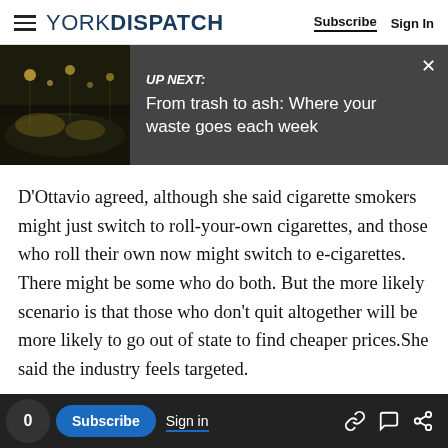YORK DISPATCH | Subscribe  Sign In
[Figure (screenshot): Up next banner showing a dark thumbnail of a waste/trash facility at night, with text: UP NEXT: From trash to ash: Where your waste goes each week. Close button (X) in top right.]
D'Ottavio agreed, although she said cigarette smokers might just switch to roll-your-own cigarettes, and those who roll their own now might switch to e-cigarettes. There might be some who do both. But the more likely scenario is that those who don't quit altogether will be more likely to go out of state to find cheaper prices.She said the industry feels targeted.
0  Subscribe  Sign in  [link icon] [comment icon] [share icon]